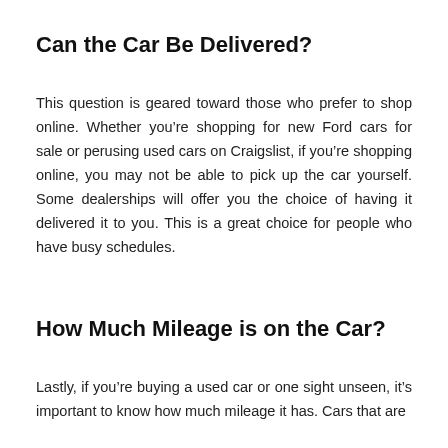Can the Car Be Delivered?
This question is geared toward those who prefer to shop online. Whether you’re shopping for new Ford cars for sale or perusing used cars on Craigslist, if you’re shopping online, you may not be able to pick up the car yourself. Some dealerships will offer you the choice of having it delivered it to you. This is a great choice for people who have busy schedules.
How Much Mileage is on the Car?
Lastly, if you’re buying a used car or one sight unseen, it’s important to know how much mileage it has. Cars that are